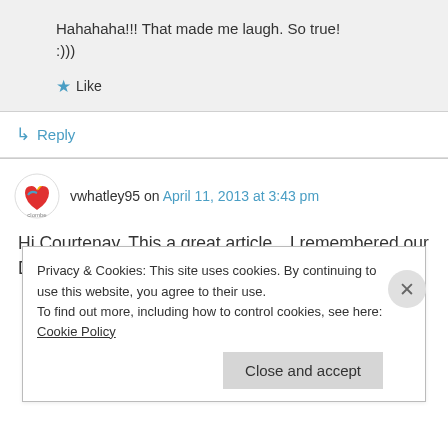Hahahaha!!! That made me laugh. So true! :)))
★ Like
↳ Reply
vwhatley95 on April 11, 2013 at 3:43 pm
Hi Courtenay, This a great article…I remembered our Dr. house visits, it's a great way
Privacy & Cookies: This site uses cookies. By continuing to use this website, you agree to their use.
To find out more, including how to control cookies, see here: Cookie Policy
Close and accept